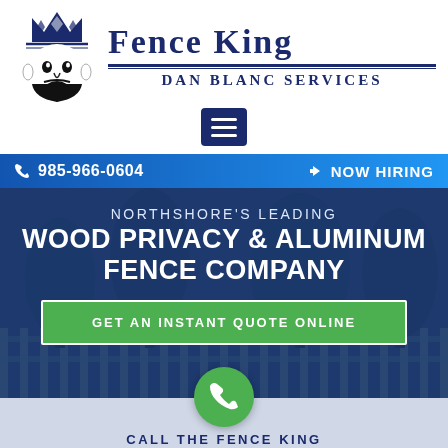[Figure (logo): Fence King logo: stylized king face with crown, black and blue illustration]
Fence King
Dan Blanc Services
[Figure (other): Hamburger menu button (three horizontal lines) in dark navy square]
985-966-0604
NOW HIRING
NORTHSHORE'S LEADING WOOD PRIVACY & ALUMINUM FENCE COMPANY
GET AN INSTANT QUOTE ONLINE
[Figure (other): Green circular phone icon button]
CALL THE FENCE KING